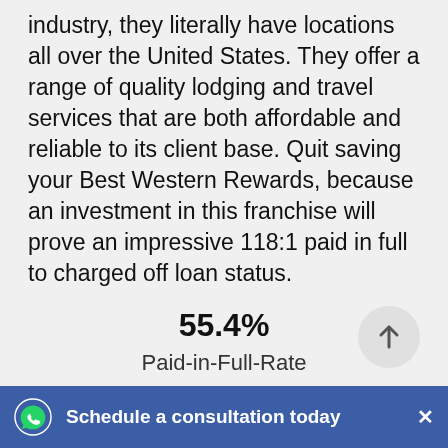industry, they literally have locations all over the United States. They offer a range of quality lodging and travel services that are both affordable and reliable to its client base. Quit saving your Best Western Rewards, because an investment in this franchise will prove an impressive 118:1 paid in full to charged off loan status.
55.4%
Paid-in-Full-Rate
[Figure (other): Circular button with upward arrow icon]
Schedule a consultation today